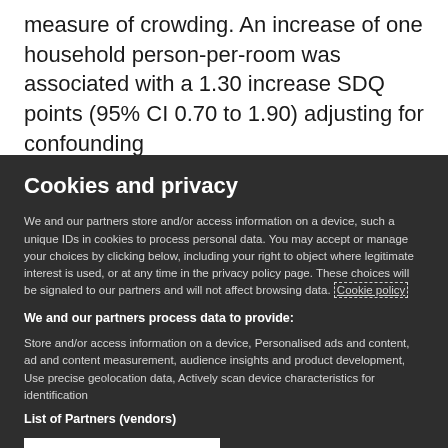measure of crowding. An increase of one household person-per-room was associated with a 1.30 increase SDQ points (95% CI 0.70 to 1.90) adjusting for confounding
Cookies and privacy
We and our partners store and/or access information on a device, such a unique IDs in cookies to process personal data. You may accept or manage your choices by clicking below, including your right to object where legitimate interest is used, or at any time in the privacy policy page. These choices will be signaled to our partners and will not affect browsing data. Cookie policy
We and our partners process data to provide:
Store and/or access information on a device, Personalised ads and content, ad and content measurement, audience insights and product development, Use precise geolocation data, Actively scan device characteristics for identification
List of Partners (vendors)
I Accept